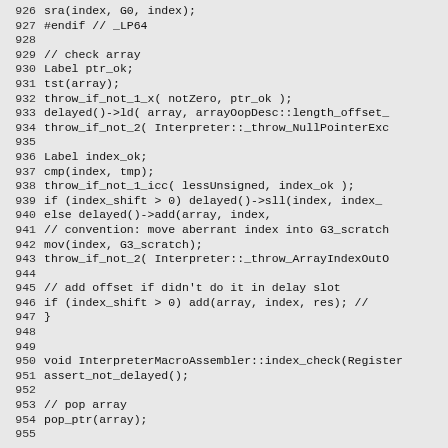926  sra(index, G0, index);
927 #endif // _LP64
928
929   // check array
930   Label ptr_ok;
931   tst(array);
932   throw_if_not_1_x( notZero, ptr_ok );
933   delayed()->ld( array, arrayOopDesc::length_offset_
934   throw_if_not_2( Interpreter::_throw_NullPointerExc
935
936   Label index_ok;
937   cmp(index, tmp);
938   throw_if_not_1_icc( lessUnsigned, index_ok );
939   if (index_shift > 0)  delayed()->sll(index, index_
940   else                  delayed()->add(array, index,
941   // convention: move aberrant index into G3_scratch
942   mov(index, G3_scratch);
943   throw_if_not_2( Interpreter::_throw_ArrayIndexOutO
944
945   // add offset if didn't do it in delay slot
946   if (index_shift > 0)   add(array, index, res); //
947 }
948
949
950 void InterpreterMacroAssembler::index_check(Register
951   assert_not_delayed();
952
953   // pop array
954   pop_ptr(array);
955